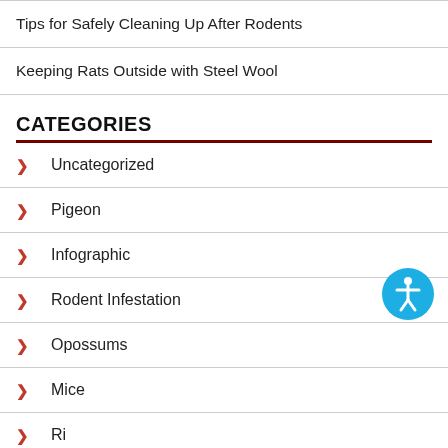Tips for Safely Cleaning Up After Rodents
Keeping Rats Outside with Steel Wool
CATEGORIES
Uncategorized
Pigeon
Infographic
Rodent Infestation
Opossums
Mice
Ri...